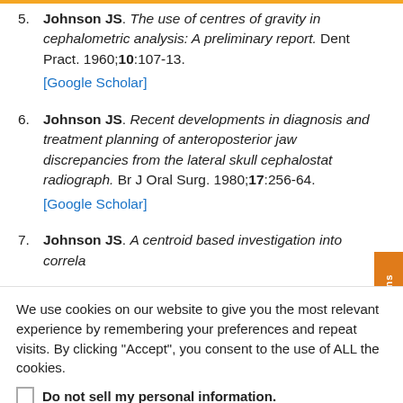5. Johnson JS. The use of centres of gravity in cephalometric analysis: A preliminary report. Dent Pract. 1960;10:107-13. [Google Scholar]
6. Johnson JS. Recent developments in diagnosis and treatment planning of anteroposterior jaw discrepancies from the lateral skull cephalostat radiograph. Br J Oral Surg. 1980;17:256-64. [Google Scholar]
7. Johnson JS. A centroid based investigation into correla...
We use cookies on our website to give you the most relevant experience by remembering your preferences and repeat visits. By clicking “Accept”, you consent to the use of ALL the cookies.
Do not sell my personal information.
Cookie Settings | Accept